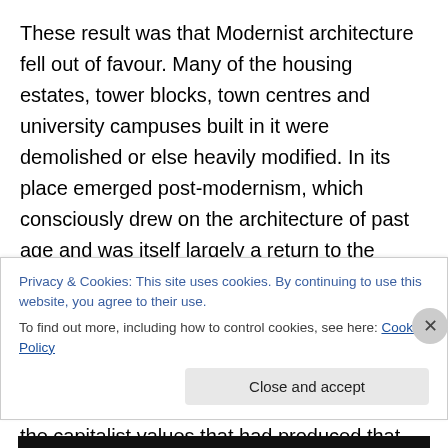These result was that Modernist architecture fell out of favour. Many of the housing estates, tower blocks, town centres and university campuses built in it were demolished or else heavily modified. In its place emerged post-modernism, which consciously drew on the architecture of past age and was itself largely a return to the French style of architecture that existed from the late 19th century to the First World War. This had been abandoned by some progressive and socialist architects because they felt that it had expressed and embodied the capitalist values that had produced that War. Thatcher and
Privacy & Cookies: This site uses cookies. By continuing to use this website, you agree to their use.
To find out more, including how to control cookies, see here: Cookie Policy
Close and accept